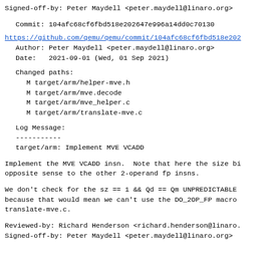Signed-off-by: Peter Maydell <peter.maydell@linaro.org>
Commit: 104afc68cf6fbd518e202647e996a14dd0c70130
https://github.com/qemu/qemu/commit/104afc68cf6fbd518e202...
Author: Peter Maydell <peter.maydell@linaro.org>
Date:   2021-09-01 (Wed, 01 Sep 2021)
Changed paths:
    M target/arm/helper-mve.h
    M target/arm/mve.decode
    M target/arm/mve_helper.c
    M target/arm/translate-mve.c
Log Message:
-----------
target/arm: Implement MVE VCADD
Implement the MVE VCADD insn.  Note that here the size bi opposite sense to the other 2-operand fp insns.
We don't check for the sz == 1 && Qd == Qm UNPREDICTABLE because that would mean we can't use the DO_2OP_FP macro translate-mve.c.
Reviewed-by: Richard Henderson <richard.henderson@linaro.
Signed-off-by: Peter Maydell <peter.maydell@linaro.org>